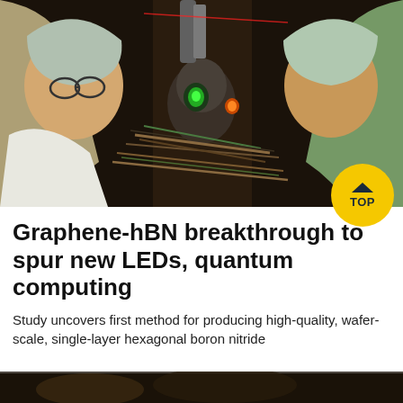[Figure (photo): Two researchers in hairnets and lab attire examining complex scientific equipment with green indicator lights and wiring, in a laboratory setting.]
Graphene-hBN breakthrough to spur new LEDs, quantum computing
Study uncovers first method for producing high-quality, wafer-scale, single-layer hexagonal boron nitride
[Figure (photo): Partial view of a second photo at the bottom of the page, dark toned.]